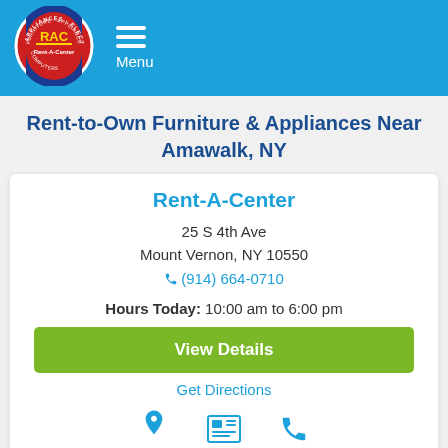Rent-A-Center Menu
Rent-to-Own Furniture & Appliances Near Amawalk, NY
Rent-A-Center
25 S 4th Ave
Mount Vernon, NY 10550
(914) 664-0710
Hours Today: 10:00 am to 6:00 pm
View Details
Get Directions
Map   Details   Call